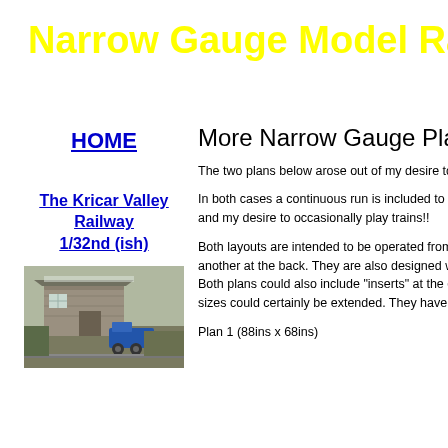Narrow Gauge Model Railway
HOME
More Narrow Gauge Plans
The two plans below arose out of my desire to b...
In both cases a continuous run is included to re... and my desire to occasionally play trains!!
The Kricar Valley Railway 1/32nd (ish)
[Figure (photo): Photo of a small model railway shed/building scene with a blue locomotive]
Both layouts are intended to be operated from b... another at the back. They are also designed wi... Both plans could also include "inserts" at the en... sizes could certainly be extended. They have m...
Plan 1 (88ins x 68ins)